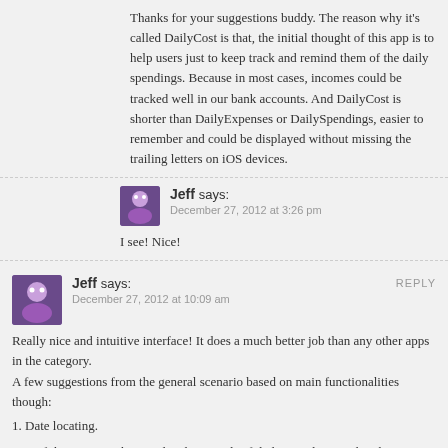Thanks for your suggestions buddy. The reason why it's called DailyCost is that, the initial thought of this app is to help users just to keep track and remind them of the daily spendings. Because in most cases, incomes could be tracked well in our bank accounts. And DailyCost is shorter than DailyExpenses or DailySpendings, easier to remember and could be displayed without missing the trailing letters on iOS devices.
Jeff says:
December 27, 2012 at 3:26 pm
I see! Nice!
Jeff says:
December 27, 2012 at 10:09 am
Really nice and intuitive interface! It does a much better job than any other apps in the category.
A few suggestions from the general scenario based on main functionalities though:
1. Date locating.
Part of the reasons why people take records of daily spendings is that they can quickly track back to a specific date to see what they spent. So it'd be good to select a date to view from a calendar in stead of swiping, say 30 times to get to see how much I spent on the same day a month ago.
2. Week/Month/Year view.